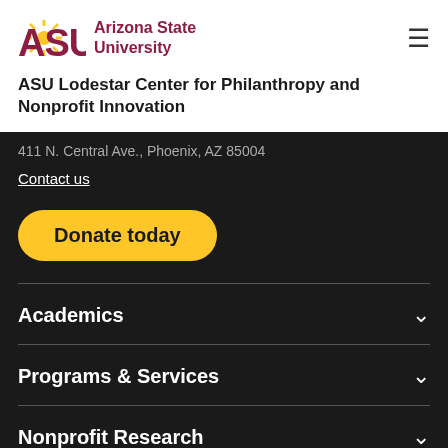[Figure (logo): Arizona State University logo with ASU letters and sunburst icon in maroon/gold]
ASU Lodestar Center for Philanthropy and Nonprofit Innovation
Contact us
Donate today
Academics
Programs & Services
Nonprofit Research